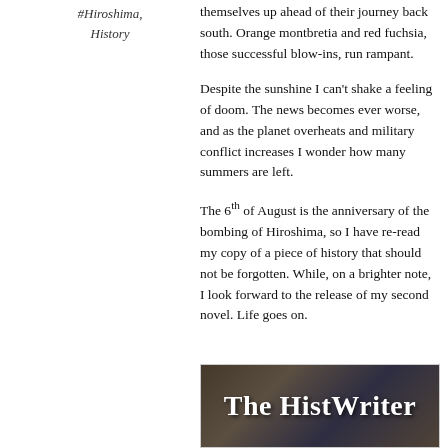#Hiroshima, History
themselves up ahead of their journey back south. Orange montbretia and red fuchsia, those successful blow-ins, run rampant.
Despite the sunshine I can't shake a feeling of doom. The news becomes ever worse, and as the planet overheats and military conflict increases I wonder how many summers are left.
The 6th of August is the anniversary of the bombing of Hiroshima, so I have re-read my copy of a piece of history that should not be forgotten. While, on a brighter note, I look forward to the release of my second novel. Life goes on.
[Figure (illustration): The HistWriter banner image showing bold white serif text 'The HistWriter' overlaid on a blurred background of books or shelves in warm brown and dark tones.]